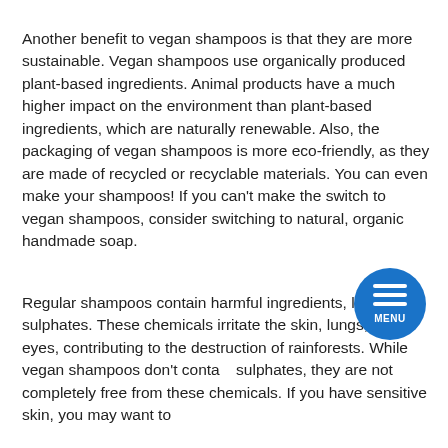Another benefit to vegan shampoos is that they are more sustainable. Vegan shampoos use organically produced plant-based ingredients. Animal products have a much higher impact on the environment than plant-based ingredients, which are naturally renewable. Also, the packaging of vegan shampoos is more eco-friendly, as they are made of recycled or recyclable materials. You can even make your shampoos! If you can't make the switch to vegan shampoos, consider switching to natural, organic handmade soap.
Regular shampoos contain harmful ingredients, like sulphates. These chemicals irritate the skin, lungs, and eyes, contributing to the destruction of rainforests. While vegan shampoos don't contain sulphates, they are not completely free from these chemicals. If you have sensitive skin, you may want to